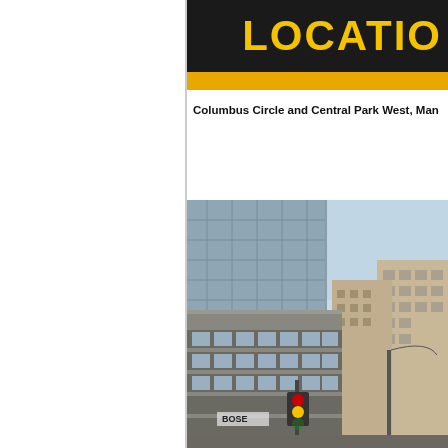LOCATION
Columbus Circle and Central Park West, Man...
[Figure (photo): Street-level photo of Columbus Circle area in Manhattan showing tall glass skyscrapers, multi-story commercial buildings with horizontal banded windows, traffic lights, and a light pole against a blue sky. Buildings include a prominent glass tower and several mid-rise stone-clad structures.]